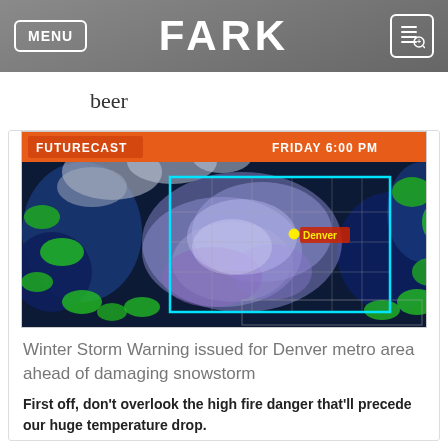MENU | FARK
beer
[Figure (map): Weather radar futurecast map showing winter storm over Colorado/Denver metro area. Orange banner at top reads 'FUTURECAST' on left and 'FRIDAY 6:00 PM' on right. A cyan/teal rectangle outlines the state of Colorado. Blue and purple precipitation covers much of the state. A yellow dot labeled 'Denver' in red text marks the city. Green areas indicate precipitation around the edges. Background is dark navy blue.]
Winter Storm Warning issued for Denver metro area ahead of damaging snowstorm
First off, don't overlook the high fire danger that'll precede our huge temperature drop.